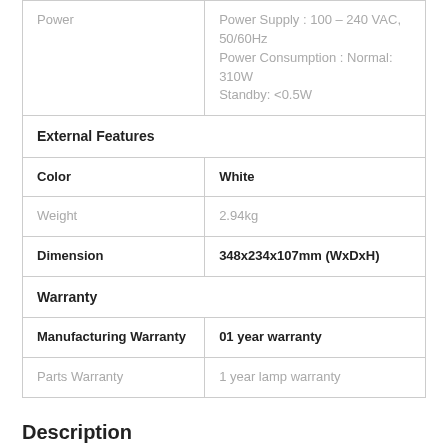| Power | Power Supply : 100 – 240 VAC, 50/60Hz
Power Consumption : Normal: 310W
Standby: <0.5W |
| External Features |  |
| Color | White |
| Weight | 2.94kg |
| Dimension | 348x234x107mm (WxDxH) |
| Warranty |  |
| Manufacturing Warranty | 01 year warranty |
| Parts Warranty | 1 year lamp warranty |
Description